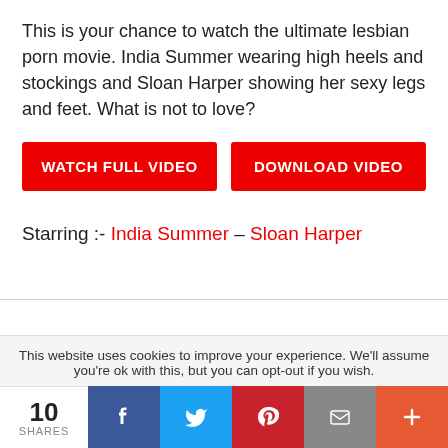This is your chance to watch the ultimate lesbian porn movie. India Summer wearing high heels and stockings and Sloan Harper showing her sexy legs and feet. What is not to love?
WATCH FULL VIDEO | DOWNLOAD VIDEO
Starring :- India Summer – Sloan Harper
This website uses cookies to improve your experience. We'll assume you're ok with this, but you can opt-out if you wish.
10 SHARES | f | bird | P | mail | +